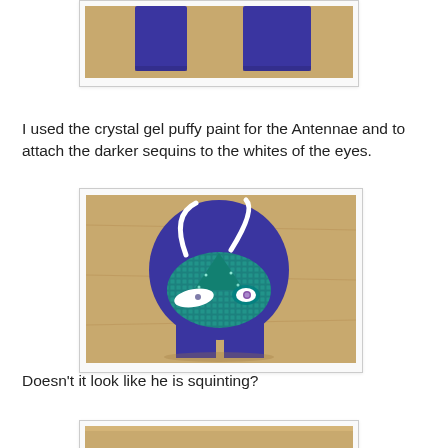[Figure (photo): Top portion of a blue felt craft mask/costume piece with rectangular tabs at the bottom, photographed on a light surface]
I used the crystal gel puffy paint for the Antennae and to attach the darker sequins to the whites of the eyes.
[Figure (photo): Blue felt circular mask with teal sequin face featuring white antennae made of puffy paint, almond-shaped white eyes with dark sequins, and a teal triangular nose area with sequins. The mask is photographed on a wooden surface.]
Doesn't it look like he is squinting?
[Figure (photo): Partially visible bottom photo, cut off by page edge]